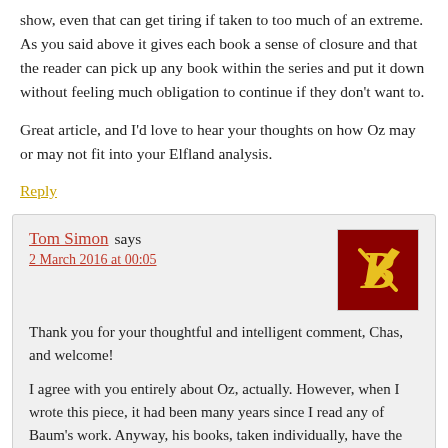show, even that can get tiring if taken to too much of an extreme. As you said above it gives each book a sense of closure and that the reader can pick up any book within the series and put it down without feeling much obligation to continue if they don’t want to.
Great article, and I’d love to hear your thoughts on how Oz may or may not fit into your Elfland analysis.
Reply
Tom Simon says
2 March 2016 at 00:05
Thank you for your thoughtful and intelligent comment, Chas, and welcome!
I agree with you entirely about Oz, actually. However, when I wrote this piece, it had been many years since I read any of Baum’s work. Anyway, his books, taken individually, have the virtue of brevity; it is only the sheer accumulation of them that clogs the works, and you have the option of stopping at any time without feeling cheated.